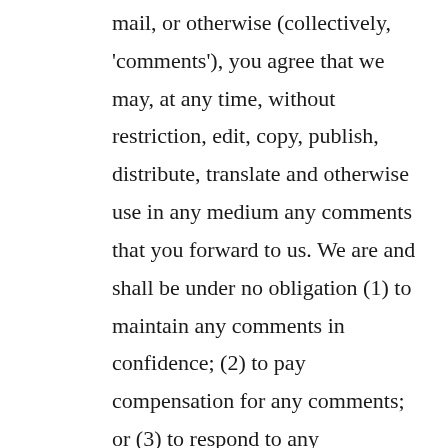mail, or otherwise (collectively, 'comments'), you agree that we may, at any time, without restriction, edit, copy, publish, distribute, translate and otherwise use in any medium any comments that you forward to us. We are and shall be under no obligation (1) to maintain any comments in confidence; (2) to pay compensation for any comments; or (3) to respond to any comments.
We may, but have no obligation to, monitor, edit or remove content that we determine in our sole discretion are unlawful, offensive, threatening, libelous, defamatory,